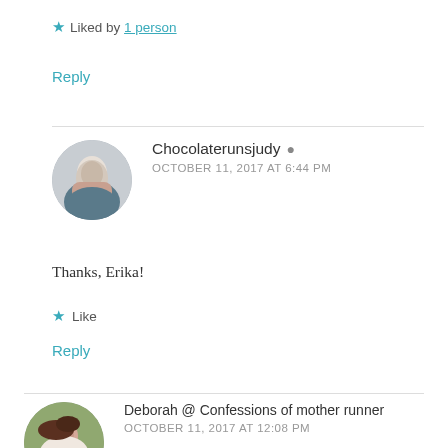★ Liked by 1 person
Reply
Chocolaterunsjudy 👤
OCTOBER 11, 2017 AT 6:44 PM
Thanks, Erika!
★ Like
Reply
Deborah @ Confessions of mother runner
OCTOBER 11, 2017 AT 12:08 PM